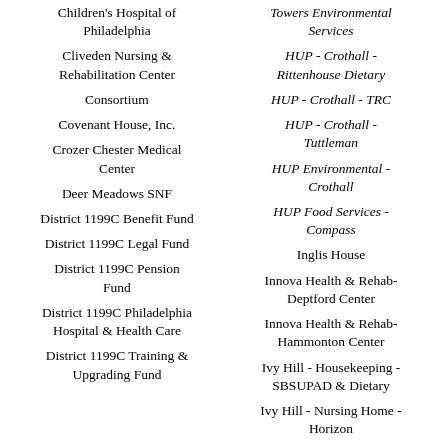Children's Hospital of Philadelphia
Cliveden Nursing & Rehabilitation Center
Consortium
Covenant House, Inc.
Crozer Chester Medical Center
Deer Meadows SNF
District 1199C Benefit Fund
District 1199C Legal Fund
District 1199C Pension Fund
District 1199C Philadelphia Hospital & Health Care
District 1199C Training & Upgrading Fund
Towers Environmental Services
HUP - Crothall - Rittenhouse Dietary
HUP - Crothall - TRC
HUP - Crothall - Tuttleman
HUP Environmental - Crothall
HUP Food Services - Compass
Inglis House
Innova Health & Rehab- Deptford Center
Innova Health & Rehab- Hammonton Center
Ivy Hill - Housekeeping - SBSUPAD & Dietary
Ivy Hill - Nursing Home - Horizon